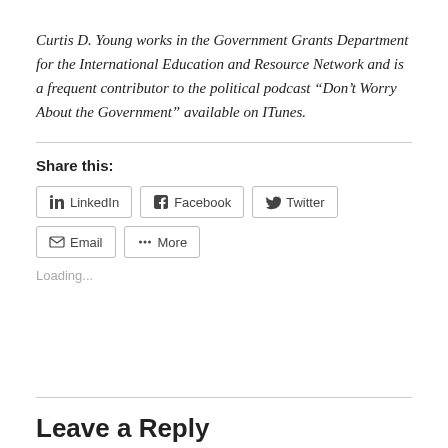Curtis D. Young works in the Government Grants Department for the International Education and Resource Network and is a frequent contributor to the political podcast “Don’t Worry About the Government” available on ITunes.
Share this:
Loading...
Leave a Reply